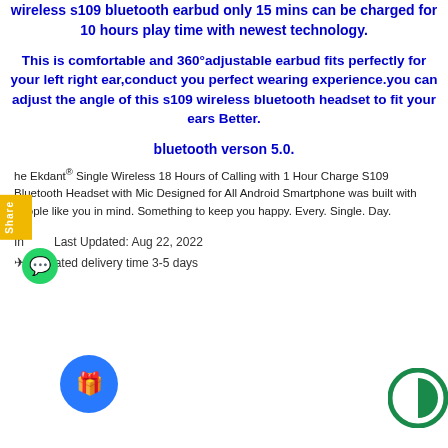wireless s109 bluetooth earbud only 15 mins can be charged for 10 hours play time with newest technology.
This is comfortable and 360°adjustable earbud fits perfectly for your left right ear,conduct you perfect wearing experience.you can adjust the angle of this s109 wireless bluetooth headset to fit your ears Better.
bluetooth verson 5.0.
The Ekdant® Single Wireless 18 Hours of Calling with 1 Hour Charge S109 Bluetooth Headset with Mic Designed for All Android Smartphone was built with people like you in mind. Something to keep you happy. Every. Single. Day.
In  Last Updated: Aug 22, 2022
Estimated delivery time 3-5 days